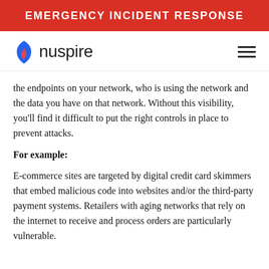EMERGENCY INCIDENT RESPONSE
[Figure (logo): Nuspire logo with blue shield/flame icon and wordmark 'nuspire', plus hamburger menu icon]
the endpoints on your network, who is using the network and the data you have on that network. Without this visibility, you'll find it difficult to put the right controls in place to prevent attacks.
For example:
E-commerce sites are targeted by digital credit card skimmers that embed malicious code into websites and/or the third-party payment systems. Retailers with aging networks that rely on the internet to receive and process orders are particularly vulnerable.